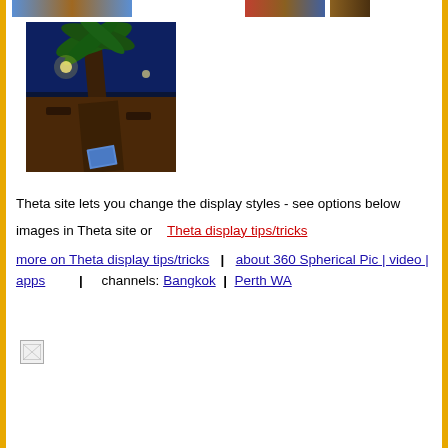[Figure (photo): Three small thumbnail photos at the top of the page showing colorful scenes]
[Figure (photo): Large night photo showing a fisheye view of a palm tree, park path with benches, and blue night sky with lights]
Theta site lets you change the display styles - see options below
images in Theta site or   Theta display tips/tricks
more on Theta display tips/tricks   |   about 360 Spherical Pic | video | apps          |    channels: Bangkok   |   Perth WA
[Figure (photo): Broken/missing image placeholder]